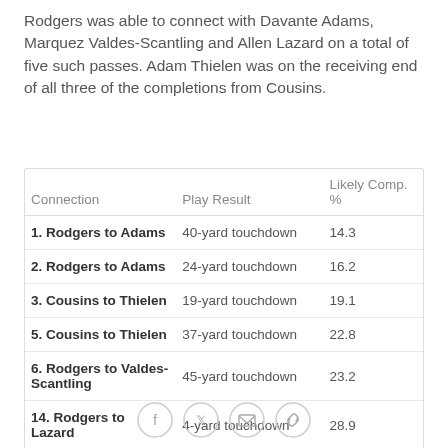Rodgers was able to connect with Davante Adams, Marquez Valdes-Scantling and Allen Lazard on a total of five such passes. Adam Thielen was on the receiving end of all three of the completions from Cousins.
| Connection | Play Result | Likely Comp. % |
| --- | --- | --- |
| 1. Rodgers to Adams | 40-yard touchdown | 14.3 |
| 2. Rodgers to Adams | 24-yard touchdown | 16.2 |
| 3. Cousins to Thielen | 19-yard touchdown | 19.1 |
| 5. Cousins to Thielen | 37-yard touchdown | 22.8 |
| 6. Rodgers to Valdes-Scantling | 45-yard touchdown | 23.2 |
| 14. Rodgers to Lazard | 4-yard touchdown | 28.9 |
[Figure (other): Social share icons: Facebook, Twitter, Email, Link]